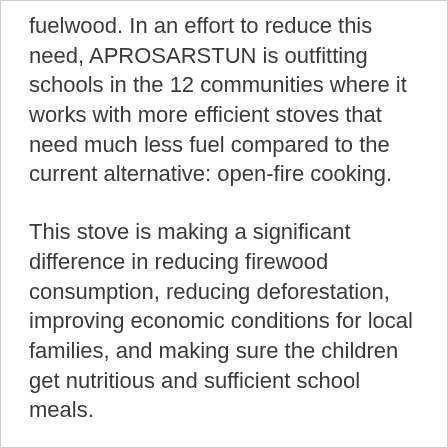fuelwood. In an effort to reduce this need, APROSARSTUN is outfitting schools in the 12 communities where it works with more efficient stoves that need much less fuel compared to the current alternative: open-fire cooking.
This stove is making a significant difference in reducing firewood consumption, reducing deforestation, improving economic conditions for local families, and making sure the children get nutritious and sufficient school meals.